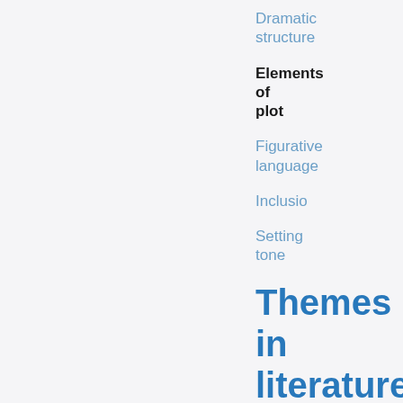Dramatic structure
Elements of plot
Figurative language
Inclusio
Setting tone
Themes in literature